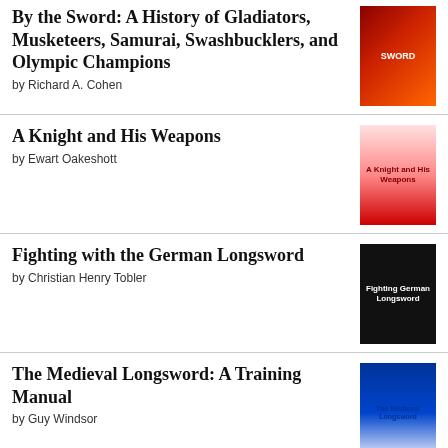By the Sword: A History of Gladiators, Musketeers, Samurai, Swashbucklers, and Olympic Champions by Richard A. Cohen
A Knight and His Weapons by Ewart Oakeshott
Fighting with the German Longsword by Christian Henry Tobler
The Medieval Longsword: A Training Manual by Guy Windsor
The Burning Land by Bernard Cornwell